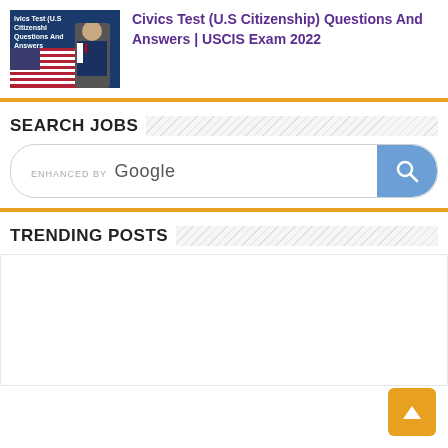[Figure (screenshot): Thumbnail image for Civics Test article showing US flag and person in suit]
Civics Test (U.S Citizenship) Questions And Answers | USCIS Exam 2022
SEARCH JOBS
[Figure (screenshot): Google enhanced search box with search button]
TRENDING POSTS
[Figure (other): Orange back-to-top button with upward arrow]